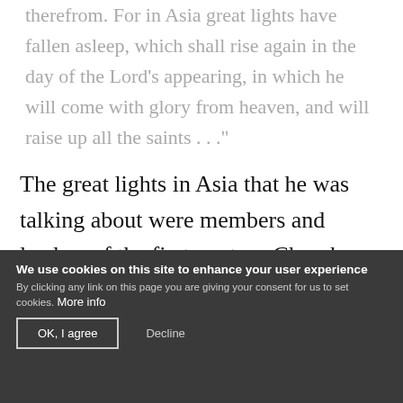therefrom. For in Asia great lights have fallen asleep, which shall rise again in the day of the Lord's appearing, in which he will come with glory from heaven, and will raise up all the saints . . ."
The great lights in Asia that he was talking about were members and leaders of the first-century Church who first received the truth and kept it. They died in the faith and they await the resurrection. Among those Polycrates mentioned were the apostle John and other early men and women.
We use cookies on this site to enhance your user experience
By clicking any link on this page you are giving your consent for us to set cookies. More info
OK, I agree   Decline